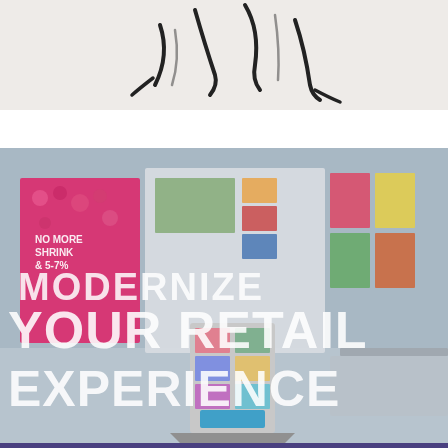[Figure (photo): Top portion of a page showing decorative hand-drawn style strokes/marks on a light grey/white fabric or paper background]
[Figure (photo): Retail display scene with magazine/brochure stands, product displays, and overlaid white bold text reading 'MODERNIZE YOUR RETAIL EXPERIENCE' on a blue-grey background]